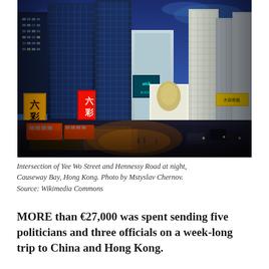[Figure (photo): Night panoramic photo of the intersection of Yee Wo Street and Hennessy Road in Causeway Bay, Hong Kong, showing illuminated skyscrapers, neon signs in Chinese, busy street traffic and pedestrians under a deep blue twilight sky.]
Intersection of Yee Wo Street and Hennessy Road at night, Causeway Bay, Hong Kong. Photo by Mstyslav Chernov. Source: Wikimedia Commons
MORE than €27,000 was spent sending five politicians and three officials on a week-long trip to China and Hong Kong.